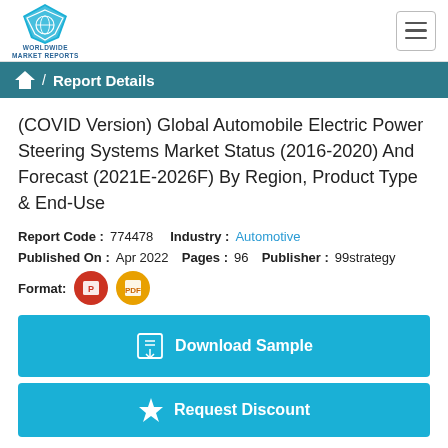[Figure (logo): Worldwide Market Reports logo with blue diamond/shield icon]
Report Details
(COVID Version) Global Automobile Electric Power Steering Systems Market Status (2016-2020) And Forecast (2021E-2026F) By Region, Product Type & End-Use
Report Code : 774478    Industry : Automotive
Published On : Apr 2022    Pages : 96    Publisher : 99strategy
Format: [PowerPoint icon] [PDF icon]
Download Sample
Request Discount